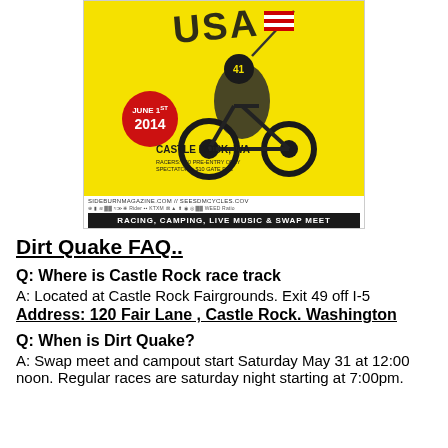[Figure (illustration): Dirt Quake 2014 event poster on yellow background. Features a motorcycle racer holding a USA flag, text: JUNE 1ST 2014, CASTLE ROCK, WA, RACERS: $50 PRE-ENTRY ONLY, SPECTATORS: $10 GATE FEE. URLs: sideburnmagazine.com // seesdmcycles.com. Sponsor logos row. Black banner: RACING, CAMPING, LIVE MUSIC & SWAP MEET.]
Dirt Quake FAQ..
Q: Where is Castle Rock race track
A: Located at Castle Rock Fairgrounds. Exit 49 off I-5
Address: 120 Fair Lane , Castle Rock. Washington
Q: When is Dirt Quake?
A: Swap meet and campout start Saturday May 31 at 12:00 noon. Regular races are saturday night starting at 7:00pm.